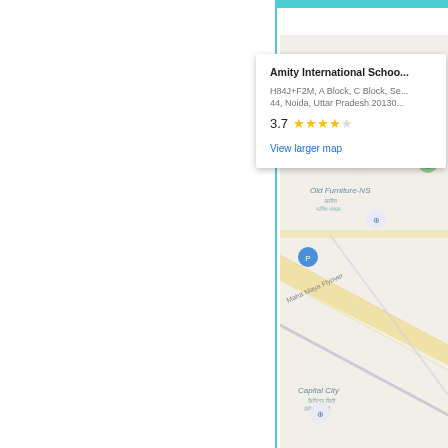[Figure (map): Google Maps screenshot showing Amity International School location in Noida, Uttar Pradesh with an info card overlay showing name, address, 3.7 star rating, and 'View larger map' link. Map shows roads including Maha Maya Flyover, markers for Old Furniture-NS and Capital City locations.]